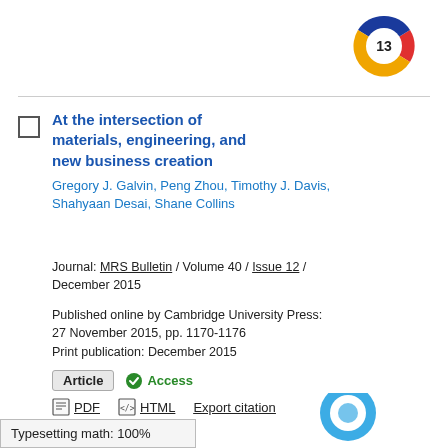[Figure (logo): Altmetric donut badge showing score of 13, colored ring in blue, red, yellow]
At the intersection of materials, engineering, and new business creation
Gregory J. Galvin, Peng Zhou, Timothy J. Davis, Shahyaan Desai, Shane Collins
Journal: MRS Bulletin / Volume 40 / Issue 12 / December 2015
Published online by Cambridge University Press: 27 November 2015, pp. 1170-1176
Print publication: December 2015
Article   Access
PDF   HTML   Export citation
+ View abstract
Typesetting math: 100%